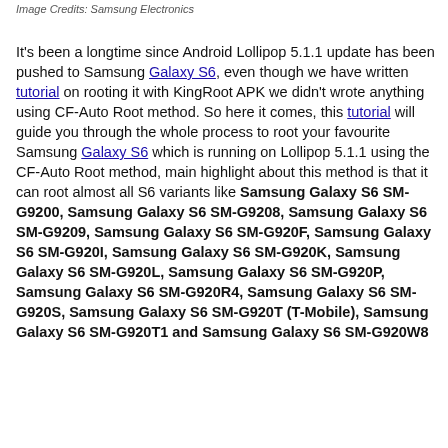Image Credits: Samsung Electronics
It's been a longtime since Android Lollipop 5.1.1 update has been pushed to Samsung Galaxy S6, even though we have written tutorial on rooting it with KingRoot APK we didn't wrote anything using CF-Auto Root method. So here it comes, this tutorial will guide you through the whole process to root your favourite Samsung Galaxy S6 which is running on Lollipop 5.1.1 using the CF-Auto Root method, main highlight about this method is that it can root almost all S6 variants like Samsung Galaxy S6 SM-G9200, Samsung Galaxy S6 SM-G9208, Samsung Galaxy S6 SM-G9209, Samsung Galaxy S6 SM-G920F, Samsung Galaxy S6 SM-G920I, Samsung Galaxy S6 SM-G920K, Samsung Galaxy S6 SM-G920L, Samsung Galaxy S6 SM-G920P, Samsung Galaxy S6 SM-G920R4, Samsung Galaxy S6 SM-G920S, Samsung Galaxy S6 SM-G920T (T-Mobile), Samsung Galaxy S6 SM-G920T1 and Samsung Galaxy S6 SM-G920W8